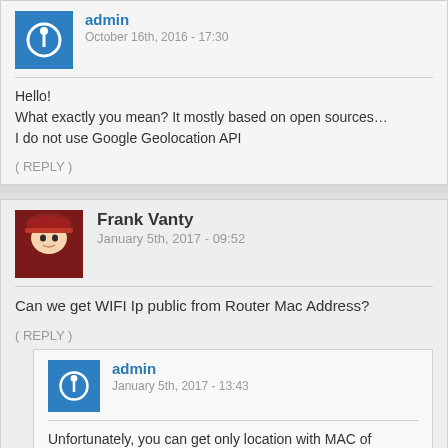admin
October 16th, 2016 - 17:30
Hello!
What exactly you mean? It mostly based on open sources…
I do not use Google Geolocation API
( REPLY )
Frank Vanty
January 5th, 2017 - 09:52
Can we get WIFI Ip public from Router Mac Address?
( REPLY )
admin
January 5th, 2017 - 13:43
Unfortunately, you can get only location with MAC of Router.
( REPLY )